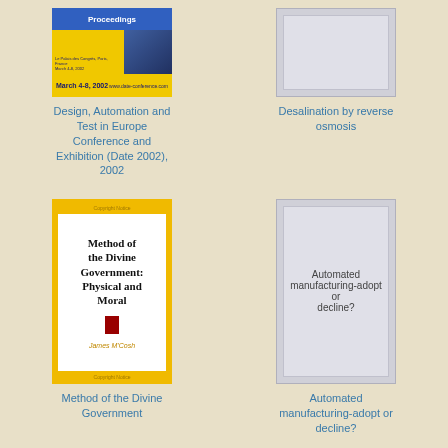[Figure (photo): Book cover: Design, Automation and Test in Europe Conference and Exhibition (Date 2002), 2002 - blue and yellow proceedings cover]
Design, Automation and Test in Europe Conference and Exhibition (Date 2002), 2002
[Figure (photo): Gray placeholder book cover for Desalination by reverse osmosis]
Desalination by reverse osmosis
[Figure (photo): Book cover: Method of the Divine Government: Physical and Moral by James M'Cosh - yellow cover with white inner panel]
Method of the Divine Government
[Figure (photo): Gray placeholder book cover with text: Automated manufacturing-adopt or decline?]
Automated manufacturing-adopt or decline?